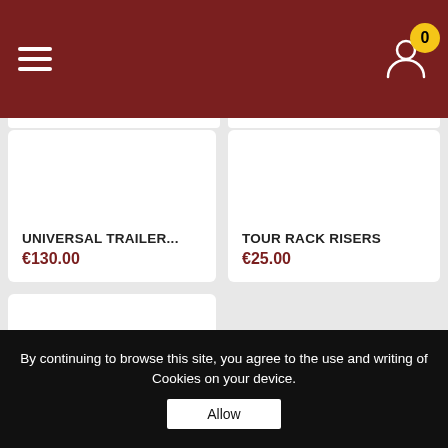Navigation header with hamburger menu, user icon, and cart badge showing 0
UNIVERSAL TRAILER...
€130.00
TOUR RACK RISERS
€25.00
Multi-Rack Adjustable...
€289.00
By continuing to browse this site, you agree to the use and writing of Cookies on your device.
Allow